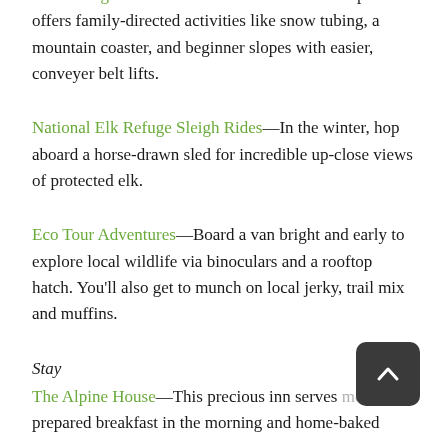Snow King Mountain—This Jackson Hole ski spot offers family-directed activities like snow tubing, a mountain coaster, and beginner slopes with easier, conveyer belt lifts.
National Elk Refuge Sleigh Rides—In the winter, hop aboard a horse-drawn sled for incredible up-close views of protected elk.
Eco Tour Adventures—Board a van bright and early to explore local wildlife via binoculars and a rooftop hatch. You'll also get to munch on local jerky, trail mix and muffins.
Stay
The Alpine House—This precious inn serves home-prepared breakfast in the morning and home-baked